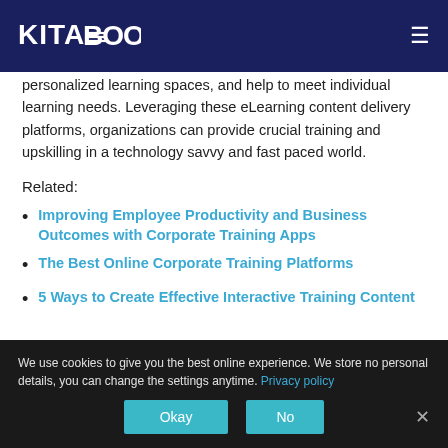KITABOO
personalized learning spaces, and help to meet individual learning needs. Leveraging these eLearning content delivery platforms, organizations can provide crucial training and upskilling in a technology savvy and fast paced world.
Related:
Improving Employee Productivity and Business Outcomes with Corporate Training Apps
The Best Online Corporate Training Platforms
5 Ways to Create Effective Interactive Training Content
We use cookies to give you the best online experience. We store no personal details, you can change the settings anytime. Privacy policy
Okay  No